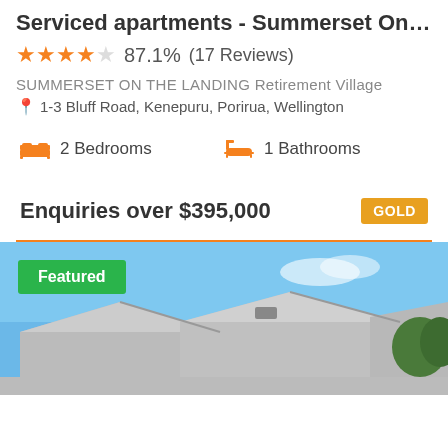Serviced apartments - Summerset On t...
★★★★☆ 87.1% (17 Reviews)
SUMMERSET ON THE LANDING Retirement Village
1-3 Bluff Road, Kenepuru, Porirua, Wellington
2 Bedrooms   1 Bathrooms
Enquiries over $395,000   GOLD
[Figure (photo): Exterior photo of a retirement village building with grey roofline against a blue sky, with green trees visible. A green 'Featured' badge overlaid top-left.]